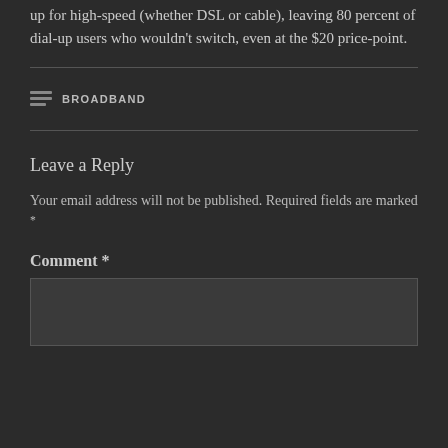up for high-speed (whether DSL or cable), leaving 80 percent of dial-up users who wouldn't switch, even at the $20 price-point.
BROADBAND
Leave a Reply
Your email address will not be published. Required fields are marked *
Comment *